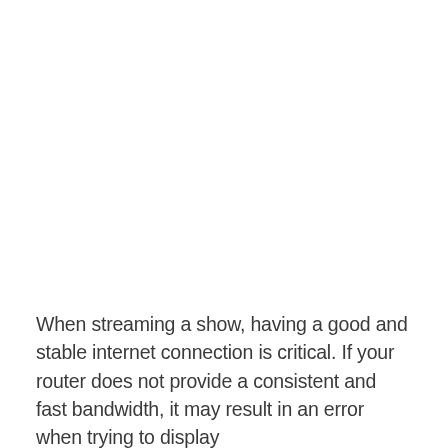When streaming a show, having a good and stable internet connection is critical. If your router does not provide a consistent and fast bandwidth, it may result in an error when trying to display Disney Plus content on the screen. The contents of the...